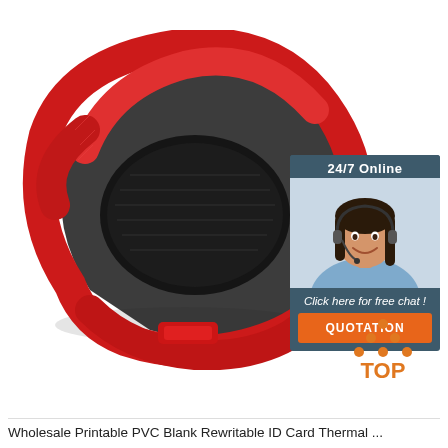[Figure (photo): Red and black velcro wristband / ID card holder strap, photographed on white background]
[Figure (infographic): Customer service chat widget: '24/7 Online' header, photo of smiling woman with headset, 'Click here for free chat!' text, orange 'QUOTATION' button]
[Figure (logo): TOP logo with orange dots arranged in triangle above text 'TOP' in orange]
Wholesale Printable PVC Blank Rewritable ID Card Thermal ...